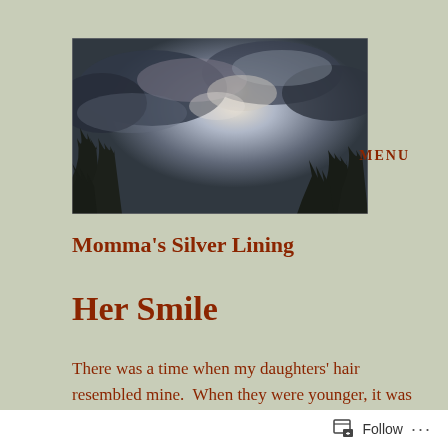[Figure (photo): Dramatic sky with clouds and sunlight breaking through, silhouettes of trees at bottom]
MENU
Momma's Silver Lining
Her Smile
There was a time when my daughters' hair resembled mine.  When they were younger, it was thinner.
Follow ...